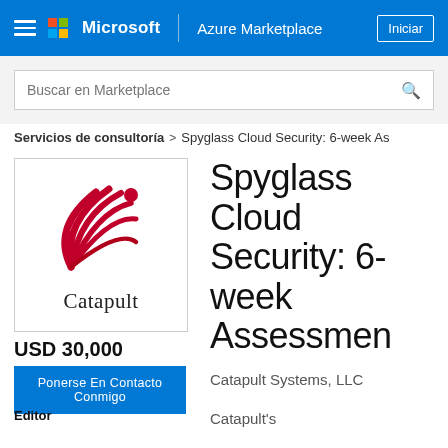Microsoft | Azure Marketplace | Iniciar
Buscar en Marketplace
Servicios de consultoría > Spyglass Cloud Security: 6-week As
[Figure (logo): Catapult company logo with red fan/arc design and the word Catapult below]
USD 30,000
Ponerse En Contacto Conmigo
Editor
Spyglass Cloud Security: 6-week Assessment
Catapult Systems, LLC
Catapult's